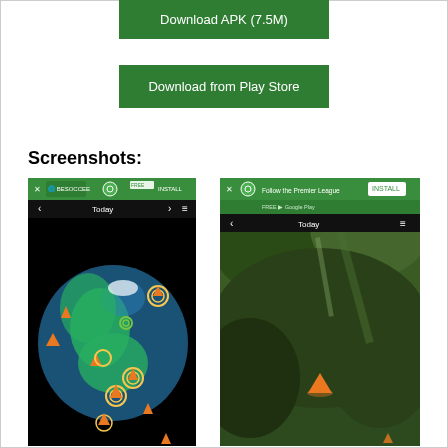[Figure (screenshot): Green button: Download APK (7.5M)]
[Figure (screenshot): Green button: Download from Play Store]
Screenshots:
[Figure (screenshot): App screenshot showing 3D globe with volcano markers and an ad bar at top]
[Figure (screenshot): App screenshot showing satellite map view with a volcano marker and ad bar at top]